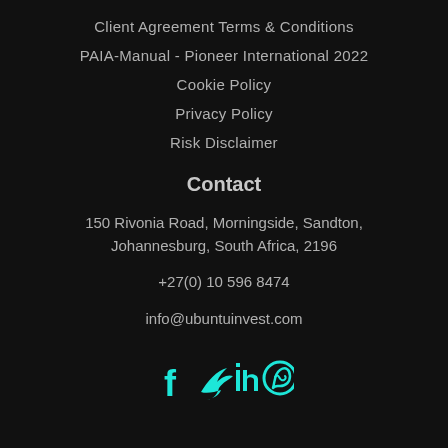Client Agreement Terms & Conditions
PAIA-Manual - Pioneer International 2022
Cookie Policy
Privacy Policy
Risk Disclaimer
Contact
150 Rivonia Road, Morningside, Sandton, Johannesburg, South Africa, 2196
+27(0) 10 596 8474
info@ubuntuinvest.com
[Figure (illustration): Social media icons: Facebook, Twitter, LinkedIn, WhatsApp in teal/cyan color]